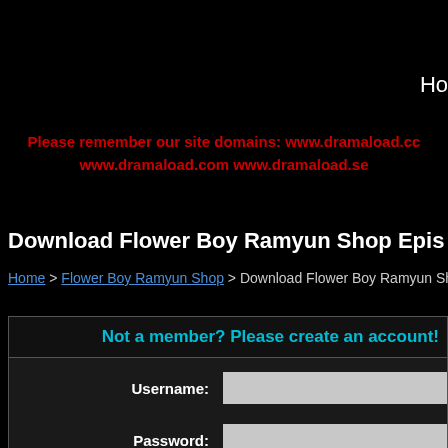Ho
Please remember our site domains: www.dramaload.cc www.dramaload.com www.dramaload.se
Download Flower Boy Ramyun Shop Epis
Home > Flower Boy Ramyun Shop > Download Flower Boy Ramyun Sho
Not a member? Please create an account!
Username:
Password:
Confirm Password: